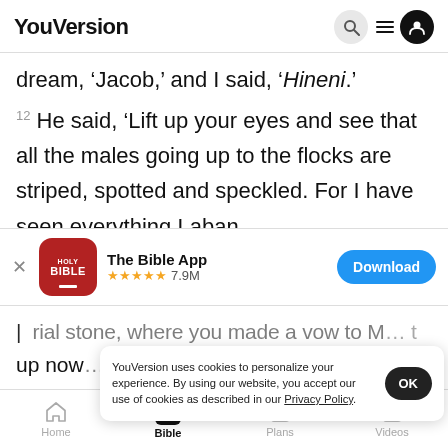YouVersion
dream, ‘Jacob,’ and I said, ‘Hineni.’
12 He said, ‘Lift up your eyes and see that all the males going up to the flocks are striped, spotted and speckled. For I have seen everything Laban
[Figure (screenshot): App download banner for The Bible App with Holy Bible icon, 5 stars, 7.9M reviews, and Download button]
rial stone, where you made a vow to M... t
up now...
of your...
YouVersion uses cookies to personalize your experience. By using our website, you accept our use of cookies as described in our Privacy Policy.
Home  Bible  Plans  Videos